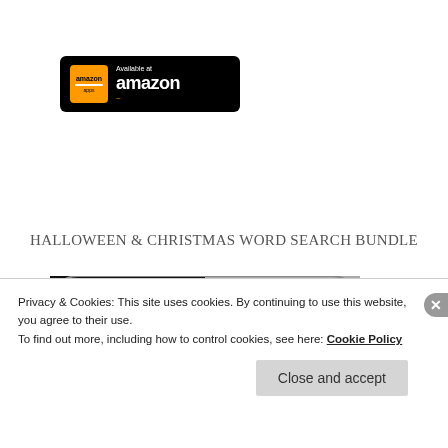[Figure (logo): Amazon Appstore badge - black rounded rectangle with Amazon apps icon and 'Available at amazon' text with orange arrow]
[Figure (logo): Google Play badge - black rounded rectangle with Google Play triangle logo and 'ANDROID APP ON Google play' text]
HALLOWEEN & CHRISTMAS WORD SEARCH BUNDLE
[Figure (screenshot): Word search game screenshot showing colorful letter tiles spelling WORD on black and grey background]
Privacy & Cookies: This site uses cookies. By continuing to use this website, you agree to their use.
To find out more, including how to control cookies, see here: Cookie Policy
Close and accept